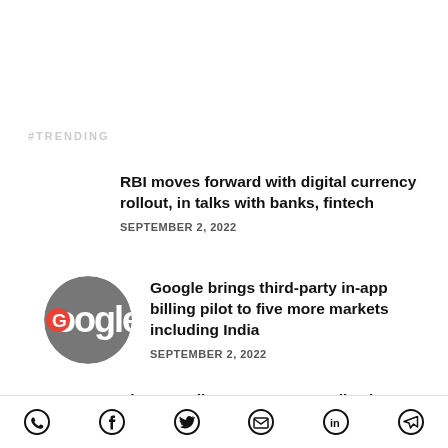#TRENDING
RBI moves forward with digital currency rollout, in talks with banks, fintech
SEPTEMBER 2, 2022
Google brings third-party in-app billing pilot to five more markets including India
SEPTEMBER 2, 2022
Xbox to roll out Game Pass, allowing users to share with up to four members
Social share icons: WhatsApp, Facebook, Twitter, Email, LinkedIn, Telegram